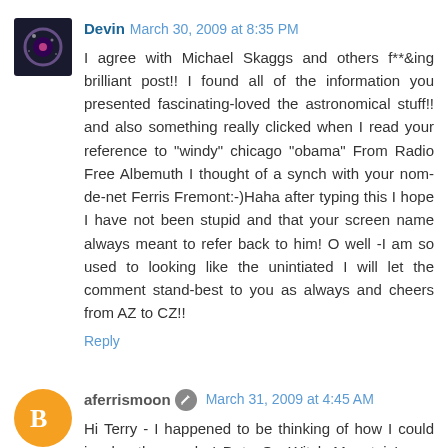Devin March 30, 2009 at 8:35 PM
I agree with Michael Skaggs and others f**&ing brilliant post!! I found all of the information you presented fascinating-loved the astronomical stuff!! and also something really clicked when I read your reference to "windy" chicago "obama" From Radio Free Albemuth I thought of a synch with your nom-de-net Ferris Fremont:-)Haha after typing this I hope I have not been stupid and that your screen name always meant to refer back to him! O well -I am so used to looking like the unintiated I will let the comment stand-best to you as always and cheers from AZ to CZ!!
Reply
aferrismoon March 31, 2009 at 4:45 AM
Hi Terry - I happened to be thinking of how I could involve the words ' Date On Witch Mountain' over the past couple of days. Some way to use something called the DAYTON WITCH from Shelby Downard.